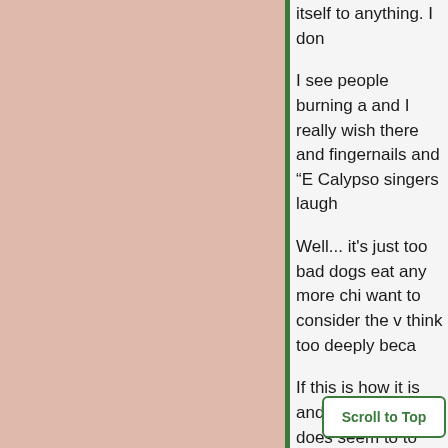itself to anything. I don
I see people burning a and I really wish there and fingernails and "E Calypso singers laugh
Well... it's just too bad dogs eat any more chi want to consider the v think too deeply beca
If this is how it is and... counts it does seem to to say now. If I were to will ever get over this e thing
Scroll to Top